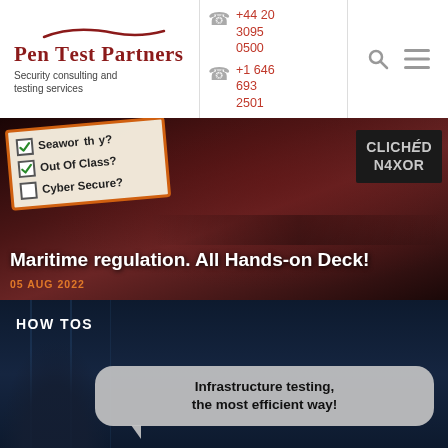[Figure (logo): Pen Test Partners logo with red arch above text and tagline 'Security consulting and testing services']
+44 20 3095 0500
+1 646 693 2501
[Figure (other): Search icon and hamburger menu icon]
[Figure (photo): Maritime themed banner showing a checklist with 'Seaworthy?', 'Out Of Class?', 'Cyber Secure?' items, ships on dark red water, and a person wearing a 'CLICHÉD N4XOR' hoodie]
Maritime regulation. All Hands-on Deck!
05 AUG 2022
HOW TOS
[Figure (photo): Dark server room background with a speech bubble saying 'Infrastructure testing, the most efficient way!']